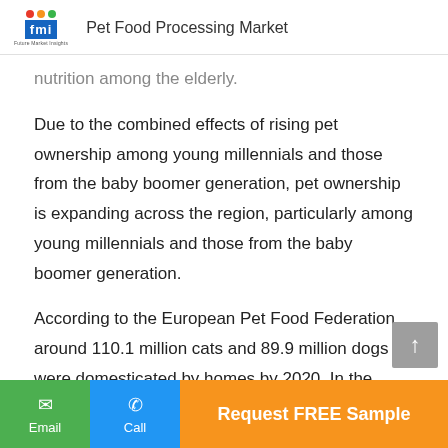Pet Food Processing Market
nutrition among the elderly.
Due to the combined effects of rising pet ownership among young millennials and those from the baby boomer generation, pet ownership is expanding across the region, particularly among young millennials and those from the baby boomer generation.
According to the European Pet Food Federation, around 110.1 million cats and 89.9 million dogs were domesticated by homes by 2020. In the European Union, 24 per cent of pet owners have at least one cat, while 25 per cent at